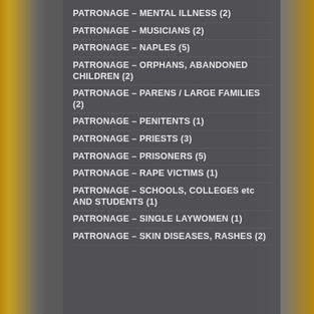PATRONAGE – MENTAL ILLNESS (2)
PATRONAGE – MUSICIANS (2)
PATRONAGE – NAPLES (5)
PATRONAGE – ORPHANS, ABANDONED CHILDREN (2)
PATRONAGE – PARENS / LARGE FAMILIES (2)
PATRONAGE – PENITENTS (1)
PATRONAGE – PRIESTS (3)
PATRONAGE – PRISONERS (5)
PATRONAGE – RAPE VICTIMS (1)
PATRONAGE – SCHOOLS, COLLEGES etc AND STUDENTS (1)
PATRONAGE – SINGLE LAYWOMEN (1)
PATRONAGE – SKIN DISEASES, RASHES (2)